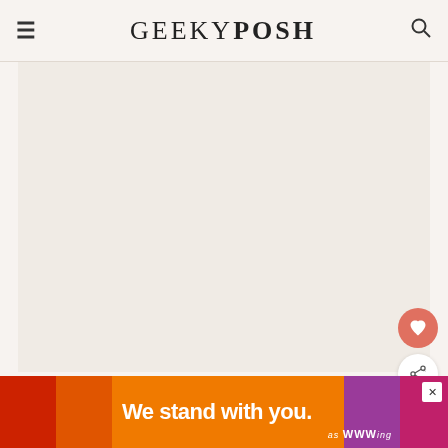GEEKYPOSH
[Figure (photo): Large blank/light image area placeholder for article photo]
01 Swap out your phone for a book. The hardest one to do, but the blue light can really mess with
[Figure (infographic): WHAT'S NEXT arrow with thumbnail - Holistic skincare...]
[Figure (infographic): Ad banner: We stand with you. Multi-color stripe advertisement with close button]